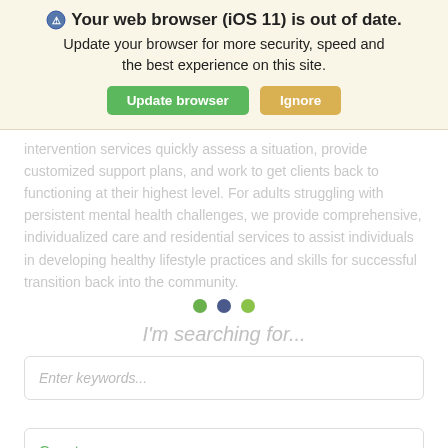Your web browser (iOS 11) is out of date. Update your browser for more security, speed and the best experience on this site. [Update browser] [Ignore]
intervention services quickly assess a situation, provide customized support plans, and work to get clients back to functioning at their highest level. For adults struggling with persistent mental health challenges, we provide comprehensive, individualized care and residential services to assist individuals in developing healthy lifestyle practices and skills for successful transition back into the community.
[Figure (other): Three slider navigation dots: green, dark blue, green]
I'm searching for...
Enter keywords...
County
Focus